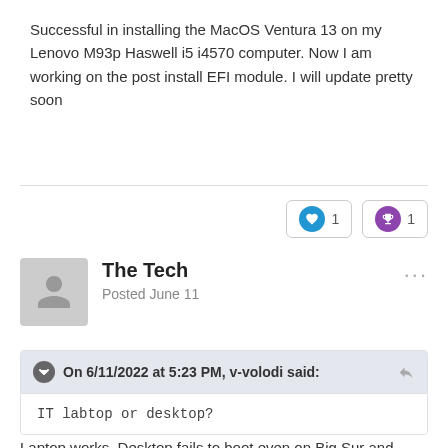Successful in installing the MacOS Ventura 13 on my Lenovo M93p Haswell i5 i4570 computer. Now I am working on the post install EFI module. I will update pretty soon
[Figure (other): Reaction buttons: heart icon with count 1 and trophy icon with count 1]
The Tech
Posted June 11
On 6/11/2022 at 5:23 PM, v-volodi said:
IT labtop or desktop?
Laptop works, Desktop fails to boot even on Big Sur and Monterey.
On 6/11/2022 at 6:57 PM, PMheart said:
Hello! Thanks for your report. I heard that System Report was somewhat broken, so it shows nothing